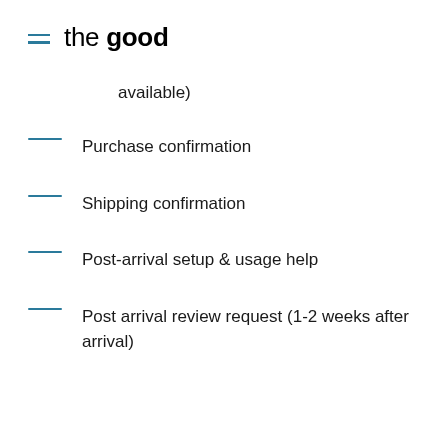the good
available)
Purchase confirmation
Shipping confirmation
Post-arrival setup & usage help
Post arrival review request (1-2 weeks after arrival)